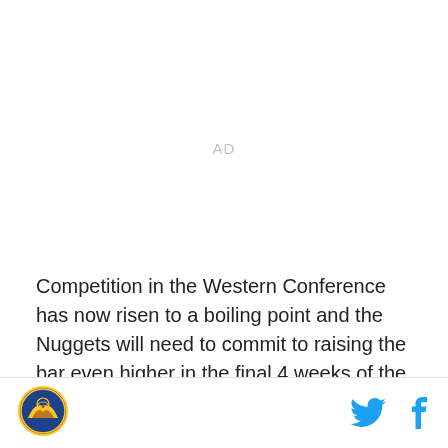AD
Competition in the Western Conference has now risen to a boiling point and the Nuggets will need to commit to raising the bar even higher in the final 4 weeks of the season.
[Figure (logo): Denver Nuggets team logo circular badge]
[Figure (other): Twitter and Facebook social media icons in blue]